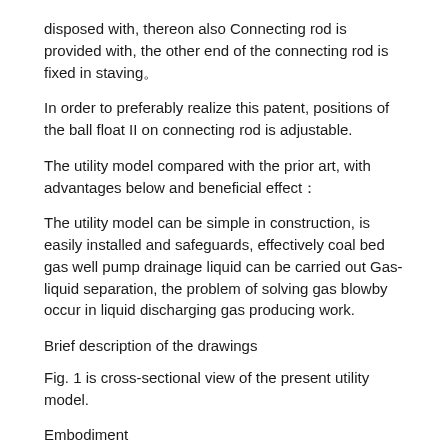disposed with, thereon also Connecting rod is provided with, the other end of the connecting rod is fixed in staving。
In order to preferably realize this patent, positions of the ball float II on connecting rod is adjustable.
The utility model compared with the prior art, with advantages below and beneficial effect：
The utility model can be simple in construction, is easily installed and safeguards, effectively coal bed gas well pump drainage liquid can be carried out Gas-liquid separation, the problem of solving gas blowby occur in liquid discharging gas producing work.
Brief description of the drawings
Fig. 1 is cross-sectional view of the present utility model.
Embodiment
As a kind of embodiment of the present utility model, the utility model is made further specifically below in conjunction with the accompanying drawings It is bright,